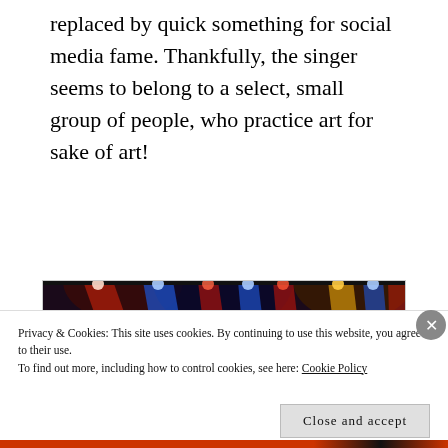replaced by quick something for social media fame. Thankfully, the singer seems to belong to a select, small group of people, who practice art for sake of art!
[Figure (photo): Concert stage photo with colorful stage lighting beams (blue, red, yellow/orange) shining down, dark background, performer visible on right side.]
Privacy & Cookies: This site uses cookies. By continuing to use this website, you agree to their use.
To find out more, including how to control cookies, see here: Cookie Policy